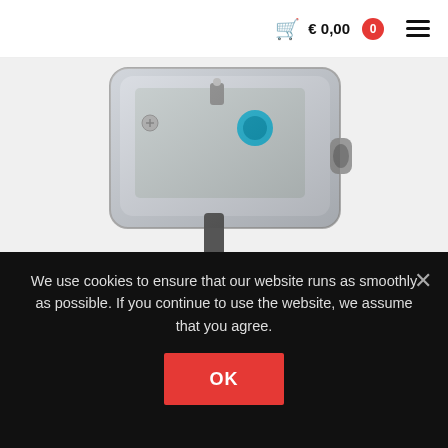€ 0,00  0  ☰
[Figure (photo): Close-up photo of electronic antenna/radio component hardware — a transparent plastic enclosure with metal connectors, a blue component, and a protruding black coaxial connector]
Passion for Antenna technology
The Kits have been carefully selected so that the radio amateur can build as easy as possible. Of course a self-build
We use cookies to ensure that our website runs as smoothly as possible. If you continue to use the website, we assume that you agree.